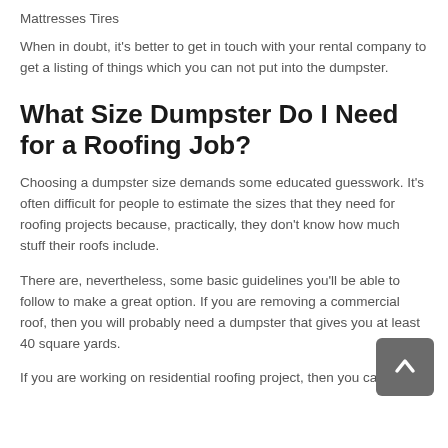Mattresses Tires
When in doubt, it's better to get in touch with your rental company to get a listing of things which you can not put into the dumpster.
What Size Dumpster Do I Need for a Roofing Job?
Choosing a dumpster size demands some educated guesswork. It's often difficult for people to estimate the sizes that they need for roofing projects because, practically, they don't know how much stuff their roofs include.
There are, nevertheless, some basic guidelines you'll be able to follow to make a great option. If you are removing a commercial roof, then you will probably need a dumpster that gives you at least 40 square yards.
If you are working on residential roofing project, then you can